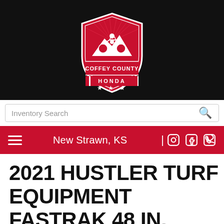[Figure (logo): Coffey County Honda shield logo with motorcycle and mountains, red and white colors]
Inventory Search
New Strawn, KS
2021 HUSTLER TURF EQUIPMENT FASTRAK 48 IN. KAWASAKI FT691 RD 22 HP